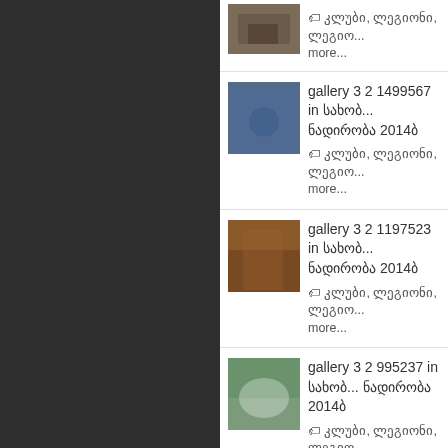🏷 კლუბი, ლეგიონი, ლეგიო... more...
gallery 3 2 1499567 in სახობ... ნადირობა 2014ბ
🏷 კლუბი, ლეგიონი, ლეგიო... more...
gallery 3 2 1197523 in სახობ... ნადირობა 2014ბ
🏷 კლუბი, ლეგიონი, ლეგიო... more...
gallery 3 2 995237 in სახობ... ნადირობა 2014ბ
🏷 კლუბი, ლეგიონი, ლეგიო... more...
gallery 3 2 832690 in სახობ... ნადირობა 2014ბ
🏷 კლუბი, ლეგიონი, ლეგიო...